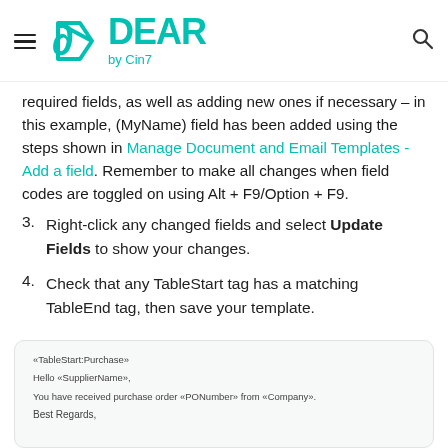DEAR by Cin7
required fields, as well as adding new ones if necessary – in this example, (MyName) field has been added using the steps shown in Manage Document and Email Templates - Add a field. Remember to make all changes when field codes are toggled on using Alt + F9/Option + F9.
3. Right-click any changed fields and select Update Fields to show your changes.
4. Check that any TableStart tag has a matching TableEnd tag, then save your template.
[Figure (screenshot): Screenshot of a document template showing «TableStart:Purchase», 'Hello «SupplierName»,', 'You have received purchase order «PONumber» from «Company».', 'Best Regards,']